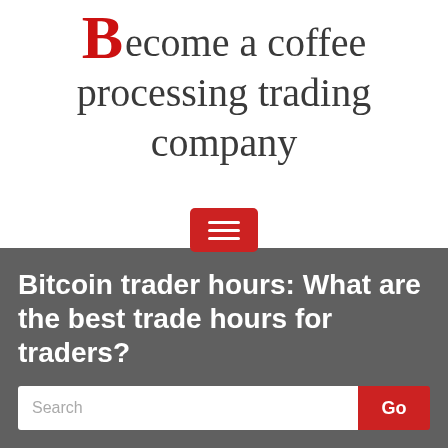Become a coffee processing trading company
[Figure (other): Red hamburger menu button icon with three horizontal white lines on red rounded rectangle background]
Bitcoin trader hours: What are the best trade hours for traders?
Search